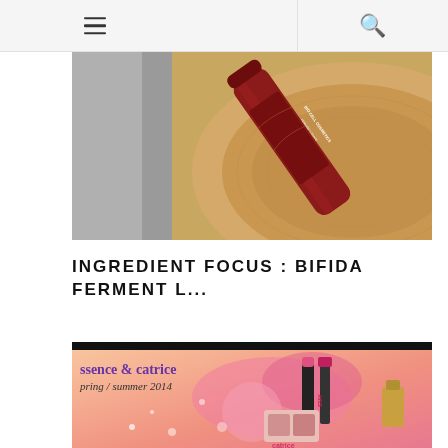Navigation bar with hamburger menu and search icon
[Figure (photo): A red cylindrical BIO CELL COSMETICS product bottle lying on its side on a wooden slice surface, photographed from above at an angle. The bottle is dark red with white text reading BIO CELL COSMETICS.]
INGREDIENT FOCUS : BIFIDA FERMENT L...
[Figure (photo): Promotional image for essence & catrice spring/summer 2014 collection showing various makeup products including lipsticks, mascara, eyeshadow palette, and nail polish on a pink/coral gradient background with floral splash elements.]